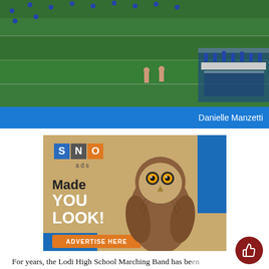[Figure (photo): Aerial view of Lodi High School Marching Band performing on a football field with band members in blue uniforms and people standing on the sideline]
Danielle Manzetti
[Figure (infographic): SNO ads advertisement with owl photo. Text reads: SNO ads / Made YOU LOOK! / ADVERTISE HERE. Blue and orange accent colors on tan/gold background.]
For years, the Lodi High School Marching Band has be[en] a staple for all the football games and events. F[or]